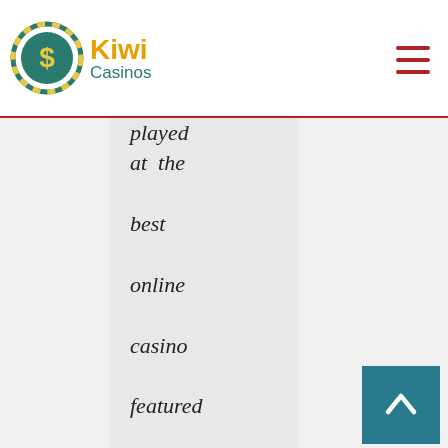Kiwi Casinos
played at the best online casino featured on this website. Many online gambling players in New Zealand